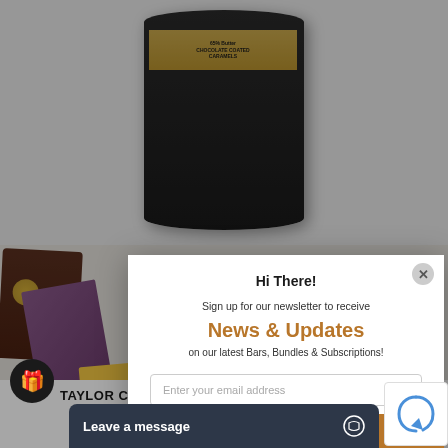[Figure (photo): Top portion of a dark cylindrical container with gold label showing chocolate product, on light gray background]
[Figure (photo): Assorted chocolate bars and packaging spread on white marble surface, including purple, orange, brown, and dark packaged bars]
Hi There!
Sign up for our newsletter to receive
News & Updates
on our latest Bars, Bundles & Subscriptions!
Enter your email address
Sign up for free
TAYLOR CHOCOLATE
Leave a message